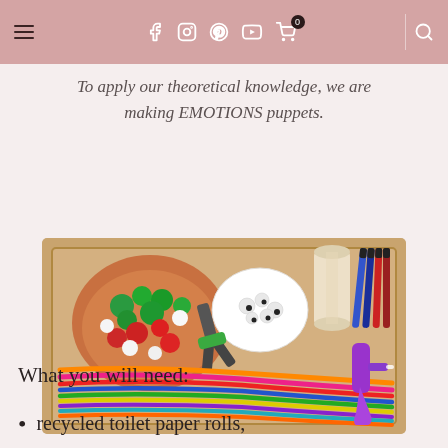≡ f ⓘ ⓟ ▶ 🛒0 🔍
To apply our theoretical knowledge, we are making EMOTIONS puppets.
[Figure (photo): A wooden tray containing colorful pompoms in a terracotta bowl, googly eyes in a white bowl, a toilet paper roll, blue and red markers, pliers, colorful pipe cleaners, and a purple glue gun.]
What you will need:
recycled toilet paper rolls,